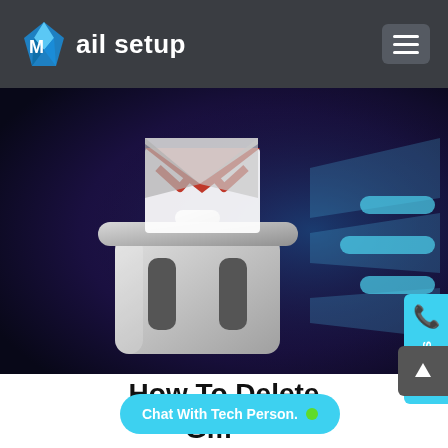Mail setup
[Figure (illustration): Dark background illustration showing a white trash can with a Gmail logo envelope (red and white) popping out of the top, with light rays/beams emanating to the right side, suggesting deletion of Gmail emails.]
How To Delete Gm[ail]